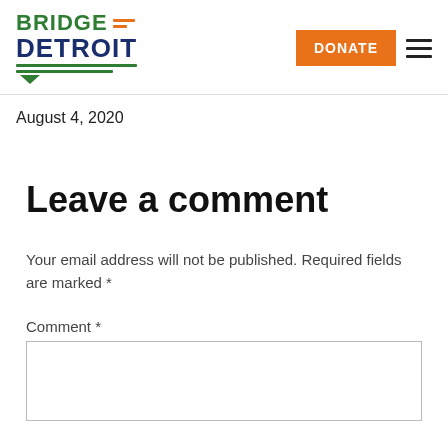[Figure (logo): Bridge Detroit logo with green BRIDGE text, orange lines, dark blue DETROIT text, green underlines and speech bubble]
DONATE [button] [hamburger menu]
August 4, 2020
Leave a comment
Your email address will not be published. Required fields are marked *
Comment *